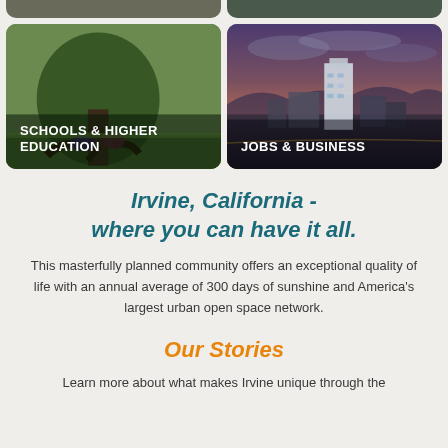[Figure (photo): Two photo cards partially visible at the top of the page, cropped]
[Figure (photo): Card showing two students sitting under a large tree with green grass, labeled SCHOOLS & HIGHER EDUCATION]
[Figure (photo): Card showing aerial cityscape of Irvine at dusk with purple sky, labeled JOBS & BUSINESS]
Irvine, California - where you can have it all.
This masterfully planned community offers an exceptional quality of life with an annual average of 300 days of sunshine and America’s largest urban open space network.
Our Stories
Learn more about what makes Irvine unique through the